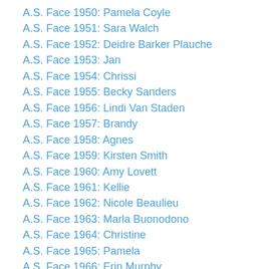A.S. Face 1950: Pamela Coyle
A.S. Face 1951: Sara Walch
A.S. Face 1952: Deidre Barker Plauche
A.S. Face 1953: Jan
A.S. Face 1954: Chrissi
A.S. Face 1955: Becky Sanders
A.S. Face 1956: Lindi Van Staden
A.S. Face 1957: Brandy
A.S. Face 1958: Agnes
A.S. Face 1959: Kirsten Smith
A.S. Face 1960: Amy Lovett
A.S. Face 1961: Kellie
A.S. Face 1962: Nicole Beaulieu
A.S. Face 1963: Marla Buonodono
A.S. Face 1964: Christine
A.S. Face 1965: Pamela
A.S. Face 1966: Erin Murphy
A.S. Face 1967: Teri-lee Milligan
A.S. Face 1968: Lesley Fenwick
A.S. Face 1969: Amanda L. Jones